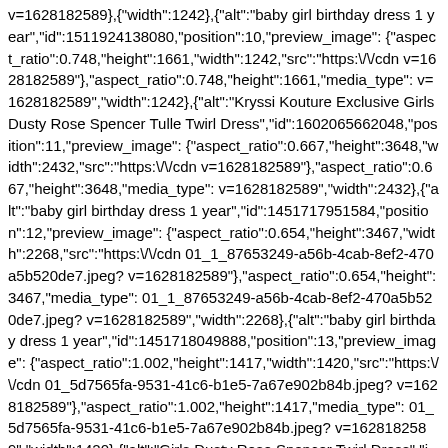v=1628182589},{"width":1242},{"alt":"baby girl birthday dress 1 year","id":1511924138080,"position":10,"preview_image":{"aspect_ratio":0.748,"height":1661,"width":1242,"src":"https:\/\/cdn v=1628182589"},"aspect_ratio":0.748,"height":1661,"media_type": v=1628182589","width":1242},{"alt":"Kryssi Kouture Exclusive Girls Dusty Rose Spencer Tulle Twirl Dress","id":1602065662048,"position":11,"preview_image":{"aspect_ratio":0.667,"height":3648,"width":2432,"src":"https:\/\/cdn v=1628182589"},"aspect_ratio":0.667,"height":3648,"media_type": v=1628182589","width":2432},{"alt":"baby girl birthday dress 1 year","id":1451717951584,"position":12,"preview_image":{"aspect_ratio":0.654,"height":3467,"width":2268,"src":"https:\/\/cdn 01_1_87653249-a56b-4cab-8ef2-470a5b520de7.jpeg?v=1628182589"},"aspect_ratio":0.654,"height":3467,"media_type": 01_1_87653249-a56b-4cab-8ef2-470a5b520de7.jpeg?v=1628182589","width":2268},{"alt":"baby girl birthday dress 1 year","id":1451718049888,"position":13,"preview_image":{"aspect_ratio":1.002,"height":1417,"width":1420,"src":"https:\/\/cdn 01_5d7565fa-9531-41c6-b1e5-7a67e902b84b.jpeg?v=1628182589"},"aspect_ratio":1.002,"height":1417,"media_type": 01_5d7565fa-9531-41c6-b1e5-7a67e902b84b.jpeg?v=1628182589","width":1420},{"alt":"Girls Dusty Rose Spencer Twirl Dress","id":1458990579808,"position":14,"preview_image":{"aspect_ratio":0.821,"height":1513,"width":1242,"src":"https:\/\/cdn 9d94-4a8a-aea4-27d79c8722d7.png?v=1628182589"},"aspect_ratio":0.821,"height":1513,"media_type":